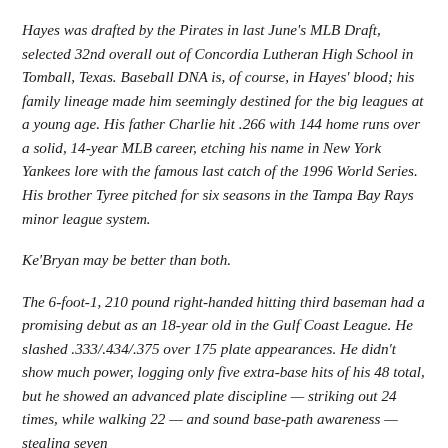Hayes was drafted by the Pirates in last June's MLB Draft, selected 32nd overall out of Concordia Lutheran High School in Tomball, Texas. Baseball DNA is, of course, in Hayes' blood; his family lineage made him seemingly destined for the big leagues at a young age. His father Charlie hit .266 with 144 home runs over a solid, 14-year MLB career, etching his name in New York Yankees lore with the famous last catch of the 1996 World Series. His brother Tyree pitched for six seasons in the Tampa Bay Rays minor league system.
Ke'Bryan may be better than both.
The 6-foot-1, 210 pound right-handed hitting third baseman had a promising debut as an 18-year old in the Gulf Coast League. He slashed .333/.434/.375 over 175 plate appearances. He didn't show much power, logging only five extra-base hits of his 48 total, but he showed an advanced plate discipline — striking out 24 times, while walking 22 — and sound base-path awareness — stealing seven